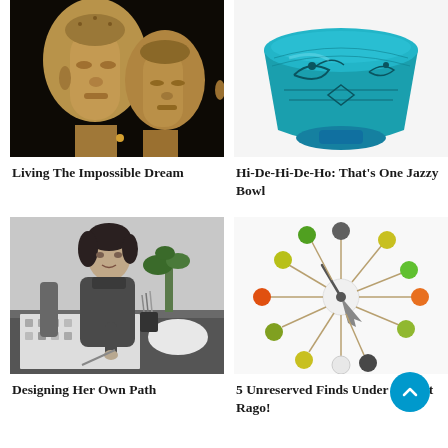[Figure (photo): Two ancient stone Buddha head sculptures in profile against a dark background]
[Figure (photo): A decorative turquoise/teal glass bowl with etched geometric and bird patterns]
Living The Impossible Dream
Hi-De-Hi-De-Ho: That's One Jazzy Bowl
[Figure (photo): Black and white photo of a woman designer working at a drafting table with papers and pencils]
[Figure (photo): A George Nelson ball clock with colorful spheres on thin rods against a white background]
Designing Her Own Path
5 Unreserved Finds Under $500 at Rago!